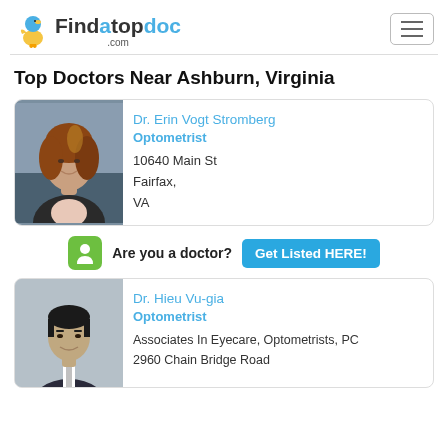Findatopdoc.com
Top Doctors Near Ashburn, Virginia
[Figure (photo): Photo of Dr. Erin Vogt Stromberg, a woman with brown hair wearing a dark blazer]
Dr. Erin Vogt Stromberg
Optometrist
10640 Main St
Fairfax,
VA
Are you a doctor? Get Listed HERE!
[Figure (photo): Photo of Dr. Hieu Vu-gia, a man wearing a suit]
Dr. Hieu Vu-gia
Optometrist
Associates In Eyecare, Optometrists, PC
2960 Chain Bridge Road